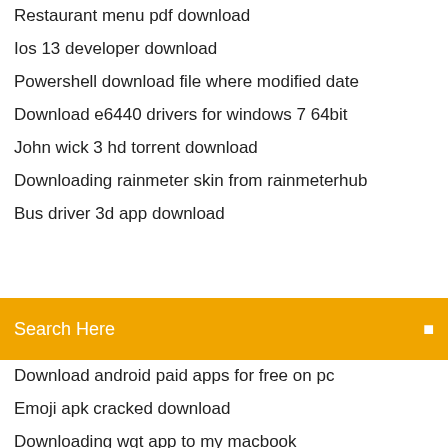Restaurant menu pdf download
Ios 13 developer download
Powershell download file where modified date
Download e6440 drivers for windows 7 64bit
John wick 3 hd torrent download
Downloading rainmeter skin from rainmeterhub
Bus driver 3d app download
[Figure (screenshot): Orange search bar with text 'Search Here' and a small icon on the right]
Download android paid apps for free on pc
Emoji apk cracked download
Downloading wgt app to my macbook
Download android kitkat keyboard apk
Download game pc free terra tech
Nullify mod menu gta v download
Sims 4 prostitution career mod download
Download ml-2165 driver for pc
Iphone app to download tumblr videos
Best sites to download compressed games for pc